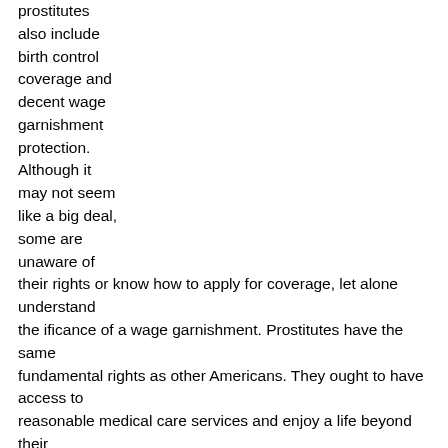prostitutes also include birth control coverage and decent wage garnishment protection. Although it may not seem like a big deal, some are unaware of their rights or know how to apply for coverage, let alone understand the ificance of a wage garnishment. Prostitutes have the same fundamental rights as other Americans. They ought to have access to reasonable medical care services and enjoy a life beyond their prostitution activities. It's not unusual Backpage Escorts Narragansett Pier RI government agencies to deny Best Hotgirls Net Narragansett Pier RI assistance to women that are in prostitution, despite the fact